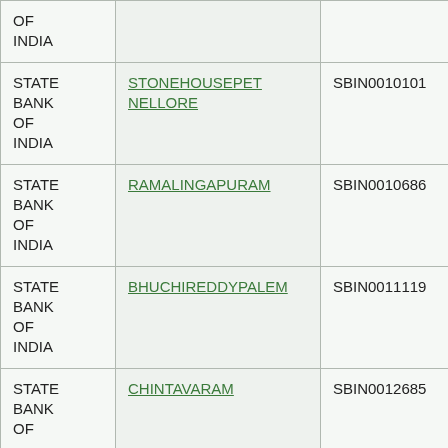| Bank | Branch | IFSC | MICR |
| --- | --- | --- | --- |
| STATE BANK OF INDIA |  |  |  |
| STATE BANK OF INDIA | STONEHOUSEPET NELLORE | SBIN0010101 | 524002007 |
| STATE BANK OF INDIA | RAMALINGAPURAM | SBIN0010686 | 524002030 |
| STATE BANK OF INDIA | BHUCHIREDDYPALEM | SBIN0011119 | 524002029 |
| STATE BANK OF INDIA | CHINTAVARAM | SBIN0012685 | 524002098 |